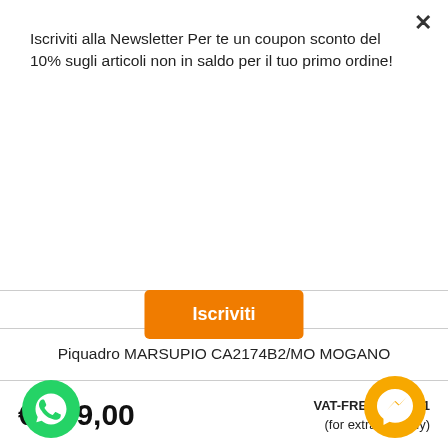Iscriviti alla Newsletter Per te un coupon sconto del 10% sugli articoli non in saldo per il tuo primo ordine!
Iscriviti
PIQUADRO
Piquadro MARSUPIO CA2174B2/MO MOGANO
€ 199,00
VAT-FREE € 163,11
(for extra UE only)
PRODUKTDETAILS
IN DEN WARENKORB
[Figure (logo): WhatsApp green circular icon]
[Figure (logo): Facebook Messenger yellow circular icon]